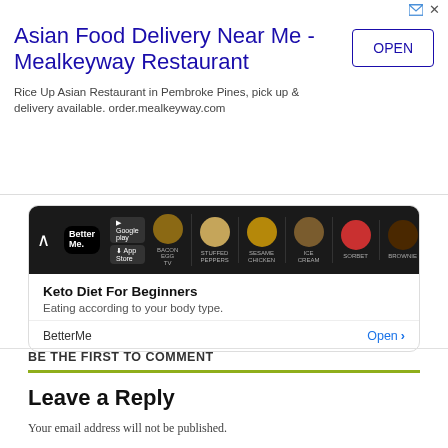[Figure (screenshot): Advertisement banner for Asian Food Delivery Near Me - Mealkeyway Restaurant with OPEN button]
[Figure (screenshot): BetterMe app advertisement card showing Keto Diet For Beginners with food images and Open button]
BE THE FIRST TO COMMENT
Leave a Reply
Your email address will not be published.
Comment